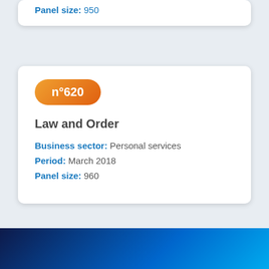Panel size: 950
n°620
Law and Order
Business sector: Personal services
Period: March 2018
Panel size: 960